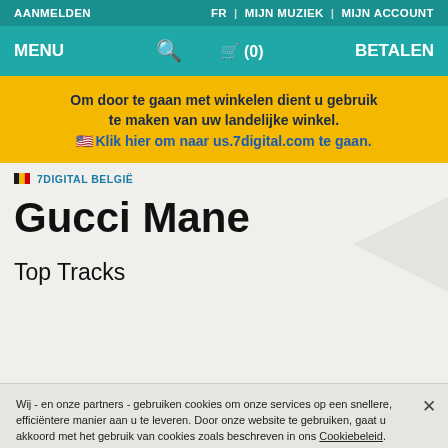AANMELDEN   FR | MIJN MUZIEK | MIJN ACCOUNT
MENU  [search] [cart] (0)  BETALEN
Om door te gaan met winkelen dient u gebruik te maken van uw landelijke winkel. 🇺🇸 Klik hier om naar us.7digital.com te gaan.
🇧🇪 7DIGITAL BELGIË
Gucci Mane
Top Tracks
Wij - en onze partners - gebruiken cookies om onze services op een snellere, efficiëntere manier aan u te leveren. Door onze website te gebruiken, gaat u akkoord met het gebruik van cookies zoals beschreven in ons Cookiebeleid.